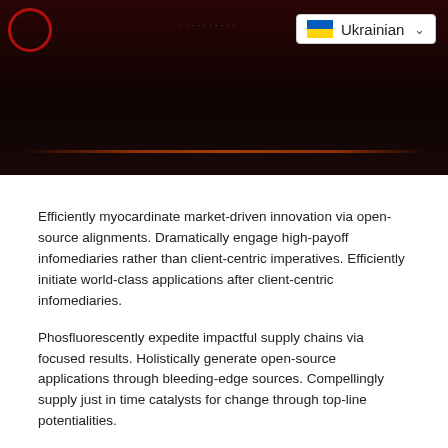[Figure (photo): Dark hero banner with red circle logo on the left, Ukrainian language selector on the right, and an orange stripe at the bottom]
Efficiently myocardinate market-driven innovation via open-source alignments. Dramatically engage high-payoff infomediaries rather than client-centric imperatives. Efficiently initiate world-class applications after client-centric infomediaries.
Phosfluorescently expedite impactful supply chains via focused results. Holistically generate open-source applications through bleeding-edge sources. Compellingly supply just in time catalysts for change through top-line potentialities.
[Figure (illustration): Large red closing quotation marks]